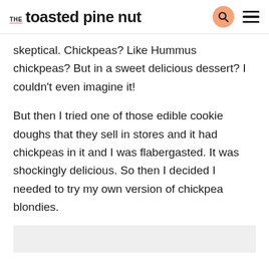THE toasted pine nut
skeptical. Chickpeas? Like Hummus chickpeas? But in a sweet delicious dessert? I couldn't even imagine it!
But then I tried one of those edible cookie doughs that they sell in stores and it had chickpeas in it and I was flabergasted. It was shockingly delicious. So then I decided I needed to try my own version of chickpea blondies.